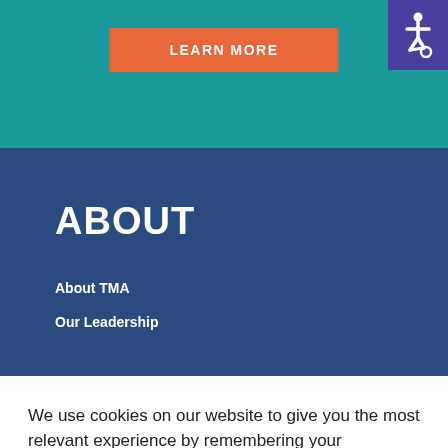LEARN MORE
[Figure (illustration): Wheelchair accessibility icon in white on purple background]
ABOUT
About TMA
Our Leadership
We use cookies on our website to give you the most relevant experience by remembering your preferences and repeat visits. By clicking “Accept All”, you consent to the use of ALL the cookies. However, you may visit "Cookie Settings" to provide a controlled consent.
Cookie Settings
Accept All